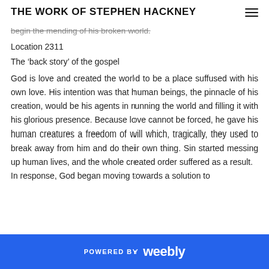THE WORK OF STEPHEN HACKNEY
begin the mending of his broken world.
Location 2311
The ‘back story’ of the gospel
God is love and created the world to be a place suffused with his own love. His intention was that human beings, the pinnacle of his creation, would be his agents in running the world and filling it with his glorious presence. Because love cannot be forced, he gave his human creatures a freedom of will which, tragically, they used to break away from him and do their own thing. Sin started messing up human lives, and the whole created order suffered as a result. In response, God began moving towards a solution to
POWERED BY weebly